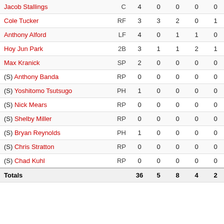| Player | Pos | AB | R | H | RBI | BB | SO | AVG |
| --- | --- | --- | --- | --- | --- | --- | --- | --- |
| Jacob Stallings | C | 4 | 0 | 0 | 0 | 0 | 1 | .240 |
| Cole Tucker | RF | 3 | 3 | 2 | 0 | 1 | 0 | .211 |
| Anthony Alford | LF | 4 | 0 | 1 | 1 | 0 | 0 | .223 |
| Hoy Jun Park | 2B | 3 | 1 | 1 | 2 | 1 | 0 | .186 |
| Max Kranick | SP | 2 | 0 | 0 | 0 | 0 | 1 | .000 |
| (S) Anthony Banda | RP | 0 | 0 | 0 | 0 | 0 | 0 | .000 |
| (S) Yoshitomo Tsutsugo | PH | 1 | 0 | 0 | 0 | 0 | 0 | .255 |
| (S) Nick Mears | RP | 0 | 0 | 0 | 0 | 0 | 0 | .000 |
| (S) Shelby Miller | RP | 0 | 0 | 0 | 0 | 0 | 0 | .000 |
| (S) Bryan Reynolds | PH | 1 | 0 | 0 | 0 | 0 | 1 | .296 |
| (S) Chris Stratton | RP | 0 | 0 | 0 | 0 | 0 | 0 | .000 |
| (S) Chad Kuhl | RP | 0 | 0 | 0 | 0 | 0 | 0 | .048 |
| Totals |  | 36 | 5 | 8 | 4 | 2 | 7 |  |